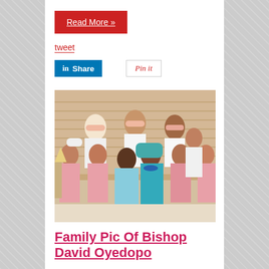Read More »
tweet
Share
Pin it
[Figure (photo): Family portrait of Bishop David Oyedopo with his family members wearing traditional Nigerian attire — men in white agbada with pink fila caps, women in pink lace dresses, couple in center wearing blue/teal outfits]
Family Pic Of Bishop David Oyedopo